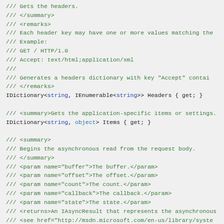/// Gets the headers.
/// </summary>
/// <remarks>
/// Each header key may have one or more values matching the
/// Example:
///    GET / HTTP/1.0
///    Accept: text/html;application/xml
///
///    Generates a headers dictionary with key "Accept" contai
/// </remarks>
IDictionary<string, IEnumerable<string>> Headers { get; }

/// <summary>Gets the application-specific items or settings.
IDictionary<string, object> Items { get; }

/// <summary>
/// Begins the asynchronous read from the request body.
/// </summary>
/// <param name="buffer">The buffer.</param>
/// <param name="offset">The offset.</param>
/// <param name="count">The count.</param>
/// <param name="callback">The callback.</param>
/// <param name="state">The state.</param>
/// <returns>An IAsyncResult that represents the asynchronous
/// <see href="http://msdn.microsoft.com/en-us/library/system
IAsyncResult BeginReadBody(byte[] buffer, int offset, int cou

/// <summary>
/// Ends the asynchronous read from the request body.